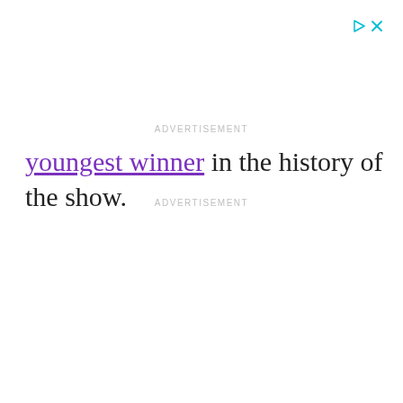[Figure (other): Ad control icons: a play triangle and an X button in cyan/teal color, top-right corner]
ADVERTISEMENT
youngest winner in the history of the show.
ADVERTISEMENT